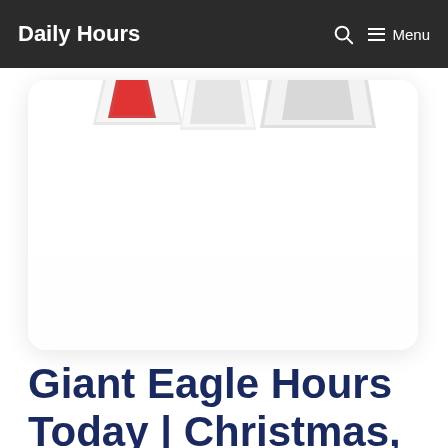Daily Hours   🔍   ☰ Menu
[Figure (photo): A photo of stacked books or notebooks with red and white covers, partially cropped, showing only the tops of the books against a white background, displayed in a white rounded card.]
Giant Eagle Hours Today | Christmas,